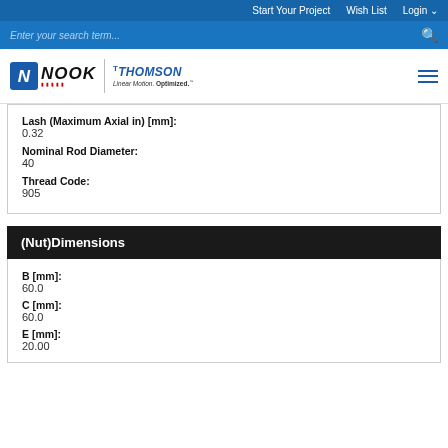Start Your Project   Wish List   Login
Enter your search term...
[Figure (logo): Nook Industries / Thomson Linear Motion Optimized logo with hamburger menu]
Lash (Maximum Axial in) [mm]:
0.32
Nominal Rod Diameter:
40
Thread Code:
905
(Nut)Dimensions
B [mm]:
60.0
C [mm]:
60.0
E [mm]:
20.00